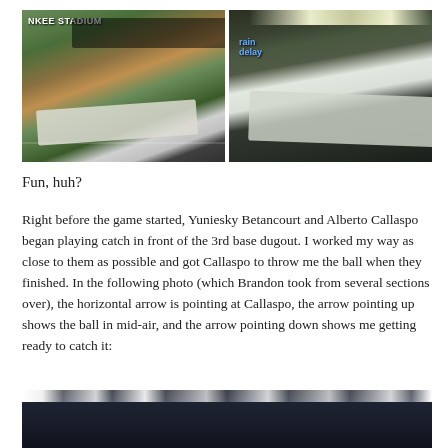[Figure (photo): Two side-by-side photos of Yankee Stadium. Left photo shows the stadium during a rain delay with the tarp on the field, daytime. Right photo shows the stadium at night during a rain delay with the scoreboard displaying 'rain delay'.]
Fun, huh?
Right before the game started, Yuniesky Betancourt and Alberto Callaspo began playing catch in front of the 3rd base dugout. I worked my way as close to them as possible and got Callaspo to throw me the ball when they finished. In the following photo (which Brandon took from several sections over), the horizontal arrow is pointing at Callaspo, the arrow pointing up shows the ball in mid-air, and the arrow pointing down shows me getting ready to catch it:
[Figure (photo): A dark photo of the stadium at night showing the crowd and bright stadium lights along the upper rim, with the stands visible in the lower portion.]